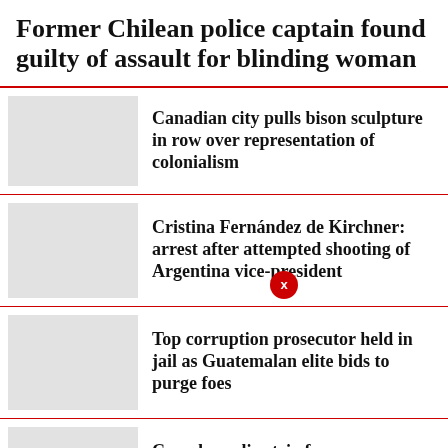Former Chilean police captain found guilty of assault for blinding woman
Canadian city pulls bison sculpture in row over representation of colonialism
Cristina Fernández de Kirchner: arrest after attempted shooting of Argentina vice-president
Top corruption prosecutor held in jail as Guatemalan elite bids to purge foes
Canada: police trio face manslaughter charges over killing of 18-month-old